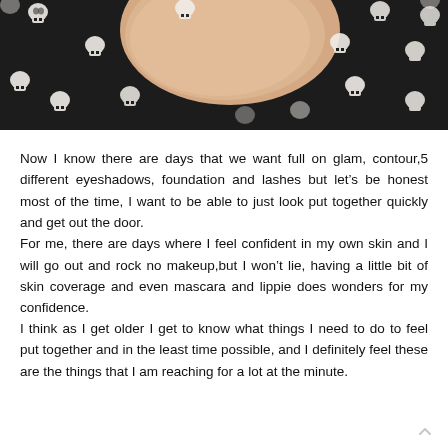[Figure (photo): Close-up photo of a person wearing a black top/dress with white skull pattern. The chin and neck area of the person is visible, showing bare skin against the dark skull-patterned fabric.]
Now I know there are days that we want full on glam, contour,5 different eyeshadows, foundation and lashes but let's be honest most of the time, I want to be able to just look put together quickly and get out the door.
For me, there are days where I feel confident in my own skin and I will go out and rock no makeup,but I won't lie, having a little bit of skin coverage and even mascara and lippie does wonders for my confidence.
I think as I get older I get to know what things I need to do to feel put together and in the least time possible, and I definitely feel these are the things that I am reaching for a lot at the minute.